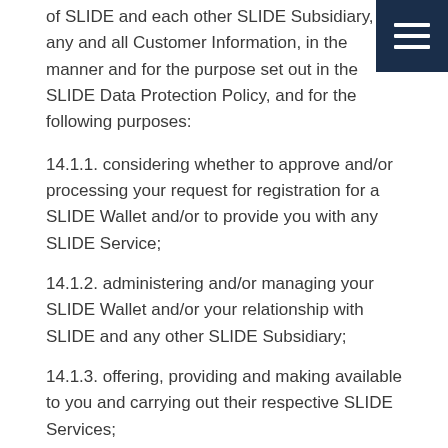of SLIDE and each other SLIDE Subsidiary, any and all Customer Information, in the manner and for the purpose set out in the SLIDE Data Protection Policy, and for the following purposes:
14.1.1. considering whether to approve and/or processing your request for registration for a SLIDE Wallet and/or to provide you with any SLIDE Service;
14.1.2. administering and/or managing your SLIDE Wallet and/or your relationship with SLIDE and any other SLIDE Subsidiary;
14.1.3. offering, providing and making available to you and carrying out their respective SLIDE Services;
14.1.4. performing their respective obligations under these Terms and any Additional Terms;